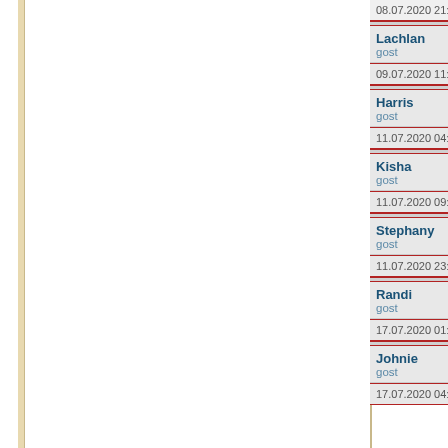| Date/Time | Name | Role |
| --- | --- | --- |
| 08.07.2020 21:37 |  |  |
|  | Lachlan | gost |
| 09.07.2020 11:17 |  |  |
|  | Harris | gost |
| 11.07.2020 04:19 |  |  |
|  | Kisha | gost |
| 11.07.2020 09:09 |  |  |
|  | Stephany | gost |
| 11.07.2020 23:25 |  |  |
|  | Randi | gost |
| 17.07.2020 01:57 |  |  |
|  | Johnie | gost |
| 17.07.2020 04:31 |  |  |